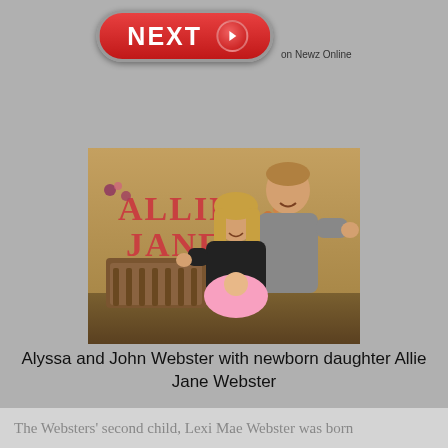[Figure (other): Red NEXT button with arrow, labeled 'on Newz Online' — navigation UI element]
[Figure (photo): Alyssa and John Webster standing in a nursery in front of a wall decorated with the name 'ALLIE JANE' in large red letters with floral decals. The woman holds a newborn baby wrapped in a pink blanket.]
Alyssa and John Webster with newborn daughter Allie Jane Webster
The Websters' second child, Lexi Mae Webster was born